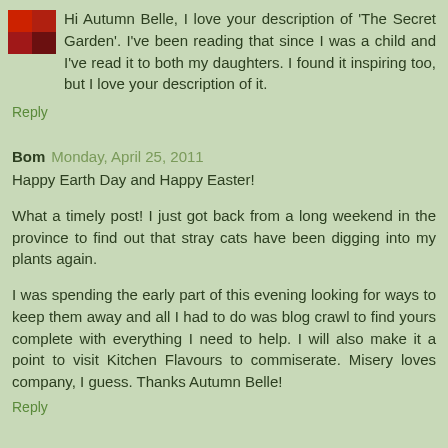Hi Autumn Belle, I love your description of 'The Secret Garden'. I've been reading that since I was a child and I've read it to both my daughters. I found it inspiring too, but I love your description of it.
Reply
Bom  Monday, April 25, 2011
Happy Earth Day and Happy Easter!
What a timely post! I just got back from a long weekend in the province to find out that stray cats have been digging into my plants again.
I was spending the early part of this evening looking for ways to keep them away and all I had to do was blog crawl to find yours complete with everything I need to help. I will also make it a point to visit Kitchen Flavours to commiserate. Misery loves company, I guess. Thanks Autumn Belle!
Reply